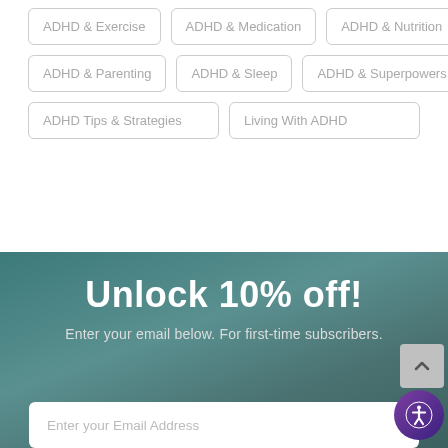ADHD & Exercise
ADHD & Medication
ADHD & Nutrition
ADHD & Parenting
ADHD & Sleep
ADHD & Superpowers
ADHD Tips & Strategies
Living With ADHD
Unlock 10% off!
Enter your email below. For first-time subscribers.
Enter your Email Address